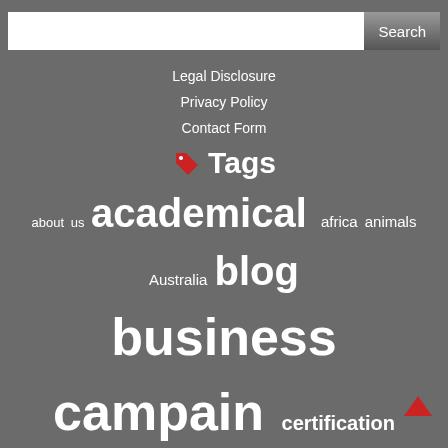Search bar with Search button
Legal Disclosure
Privacy Policy
Contact Form
Tags
about us academical africa animals Australia blog business campain certification conservation documentary download effectivness experience fake reviews farm general information harm Ifre impact individual intercultural IVHQ materials Nepal network news newspaper orphanage orphanage tourism Paris declaration parody preperation Problem project design Projects Abroad project selection quality RCDR Nepal returning home reviews safety Silvi